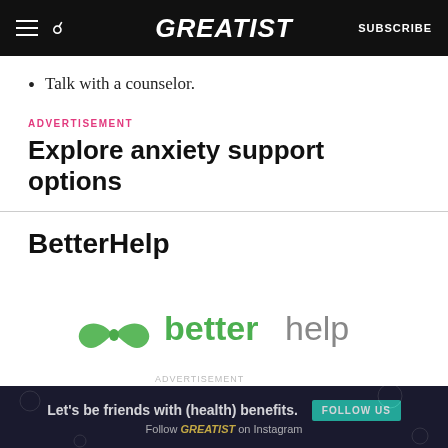GREATIST  SUBSCRIBE
Talk with a counselor.
ADVERTISEMENT
Explore anxiety support options
BetterHelp
[Figure (logo): BetterHelp logo with two hands forming a heart and the text 'betterhelp' in green and gray]
ADVERTISEMENT
Let's be friends with (health) benefits. Follow GREATIST on Instagram  FOLLOW US